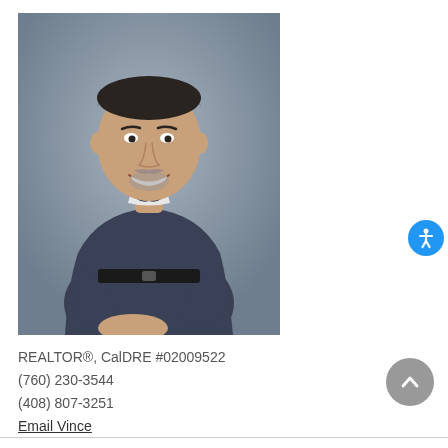[Figure (photo): Professional headshot of a man with short dark hair and a goatee, wearing a dark navy polo shirt, smiling, against a gray background]
REALTOR®, CalDRE #02009522
(760) 230-3544
(408) 807-3251
Email Vince